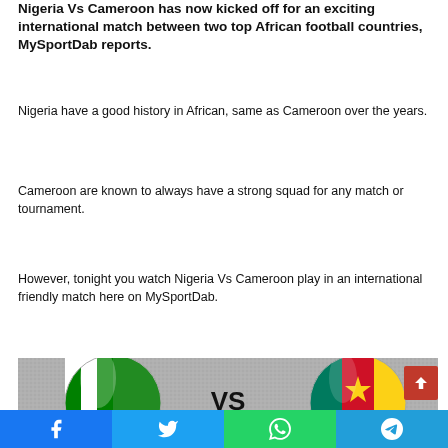Nigeria Vs Cameroon has now kicked off for an exciting international match between two top African football countries, MySportDab reports.
Nigeria have a good history in African, same as Cameroon over the years.
Cameroon are known to always have a strong squad for any match or tournament.
However, tonight you watch Nigeria Vs Cameroon play in an international friendly match here on MySportDab.
[Figure (photo): Nigeria vs Cameroon match graphic showing Nigerian flag and Cameroonian flag as circular emblems with VS text in the center on a grey textured background.]
Facebook | Twitter | WhatsApp | Telegram share buttons